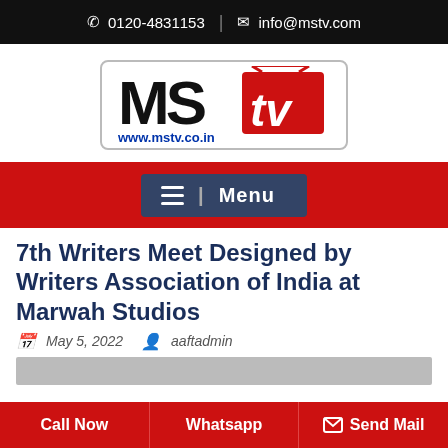📞 0120-4831153 | ✉ info@mstv.com
[Figure (logo): MSTV logo with MS in black bold letters and 'tv' in white on red background, www.mstv.co.in below, inside rounded rectangle border]
[Figure (screenshot): Red navigation bar with dark blue Menu button showing hamburger icon and 'Menu' text]
7th Writers Meet Designed by Writers Association of India at Marwah Studios
May 5, 2022   aaftadmin
Call Now | Whatsapp | Send Mail